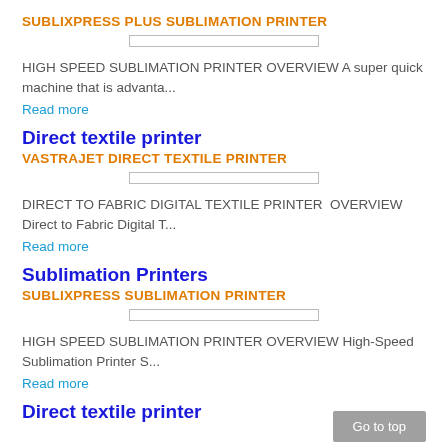SUBLIXPRESS PLUS SUBLIMATION PRINTER
HIGH SPEED SUBLIMATION PRINTER OVERVIEW A super quick machine that is advanta...
Read more
Direct textile printer
VASTRAJET DIRECT TEXTILE PRINTER
DIRECT TO FABRIC DIGITAL TEXTILE PRINTER  OVERVIEW Direct to Fabric Digital T...
Read more
Sublimation Printers
SUBLIXPRESS SUBLIMATION PRINTER
HIGH SPEED SUBLIMATION PRINTER OVERVIEW High-Speed Sublimation Printer S...
Read more
Direct textile printer